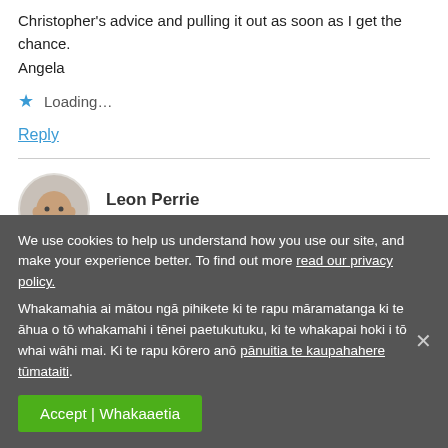Christopher's advice and pulling it out as soon as I get the chance.
Angela
Loading...
Reply
Leon Perrie
22 Jun 2009
We use cookies to help us understand how you use our site, and make your experience better. To find out more read our privacy policy. Whakamahia ai mātou ngā pihikete ki te rapu māramatanga ki te āhua o tō whakamahi i tēnei paetukutuku, ki te whakapai hoki i tō whai wāhi mai. Ki te rapu kōrero anō pānuitia te kaupahahere tūmataiti.
Accept | Whakaaetia